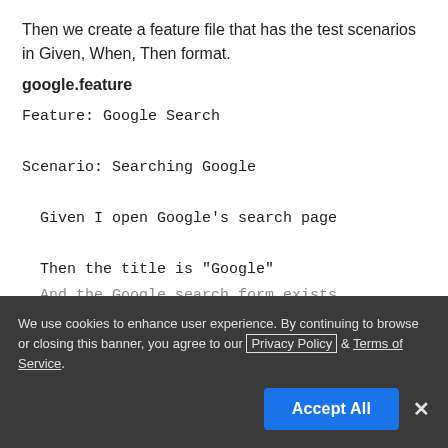Then we create a feature file that has the test scenarios in Given, When, Then format.
google.feature
Feature: Google Search

Scenario: Searching Google

  Given I open Google's search page

  Then the title is "Google"

  And the Google search form exists
We use cookies to enhance user experience. By continuing to browse or closing this banner, you agree to our Privacy Policy & Terms of Service.
Accept All